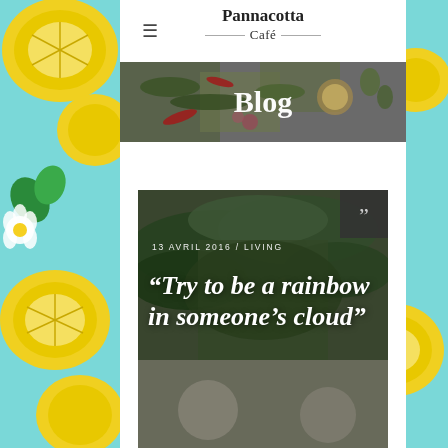[Figure (illustration): Cyan/teal background with illustrated lemons and flowers on left and right sides of the page]
≡  Pannacotta Café
[Figure (photo): Hero banner photo of herbs, spices, chili peppers, and a small bowl on white background, with the word Blog overlaid in white bold text]
Blog
[Figure (photo): Blog post card image showing fresh green herbs/parsley from above on a light background, with a dark quote mark badge in the top-right corner]
13 AVRIL 2016 / LIVING
“Try to be a rainbow in someone’s cloud”